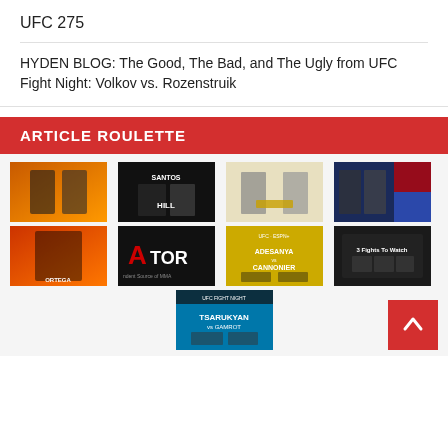UFC 275
HYDEN BLOG: The Good, The Bad, and The Ugly from UFC Fight Night: Volkov vs. Rozenstruik
ARTICLE ROULETTE
[Figure (photo): Grid of 9 MMA/UFC promotional images arranged in rows]
[Figure (other): Back to top arrow button]